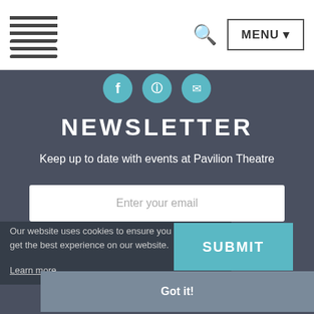MENU
[Figure (screenshot): Social media icon circles (teal)]
NEWSLETTER
Keep up to date with events at Pavilion Theatre
Enter your email
Our website uses cookies to ensure you get the best experience on our website.
Learn more
SUBMIT
Got it!
© 2022 Pavilion Theatre Ltd.   Sitemap   Login/Register
website by pixel design